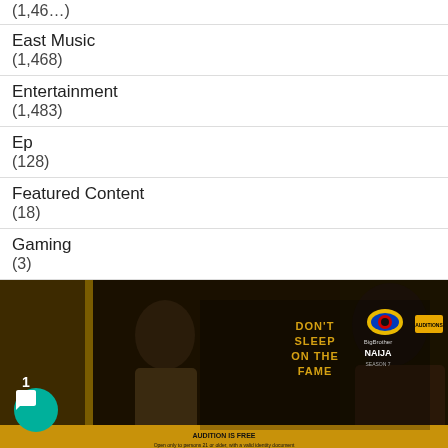(1,46...)
East Music
(1,468)
Entertainment
(1,483)
Ep
(128)
Featured Content
(18)
Gaming
(3)
[Figure (photo): Big Brother Naija Season 7 promotional banner showing two people and text 'Don't Sleep On The Fame', auditions announcement, with a chat bubble icon overlay]